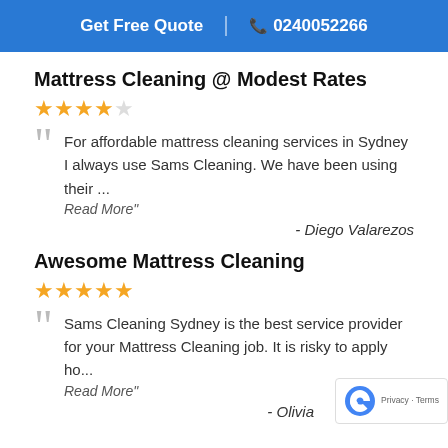Get Free Quote | 0240052266
Mattress Cleaning @ Modest Rates
★★★★☆
For affordable mattress cleaning services in Sydney I always use Sams Cleaning. We have been using their ...
Read More"
- Diego Valarezos
Awesome Mattress Cleaning
★★★★★
Sams Cleaning Sydney is the best service provider for your Mattress Cleaning job. It is risky to apply ho...
Read More"
- Olivia